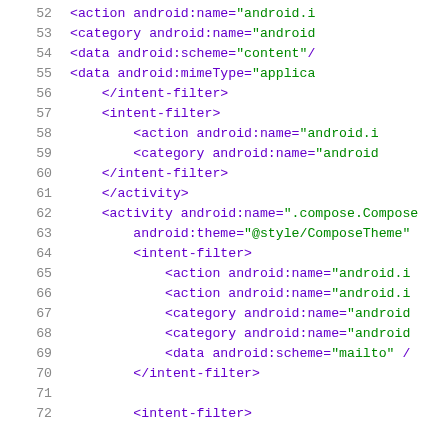Code listing showing Android XML manifest lines 52-72
52    <action android:name="android.i
53    <category android:name="android
54    <data android:scheme="content"/
55    <data android:mimeType="applica
56    </intent-filter>
57    <intent-filter>
58    <action android:name="android.i
59    <category android:name="android
60    </intent-filter>
61    </activity>
62    <activity android:name=".compose.Compose
63    android:theme="@style/ComposeTheme"
64    <intent-filter>
65    <action android:name="android.i
66    <action android:name="android.i
67    <category android:name="android
68    <category android:name="android
69    <data android:scheme="mailto" /
70    </intent-filter>
71
72    <intent-filter>